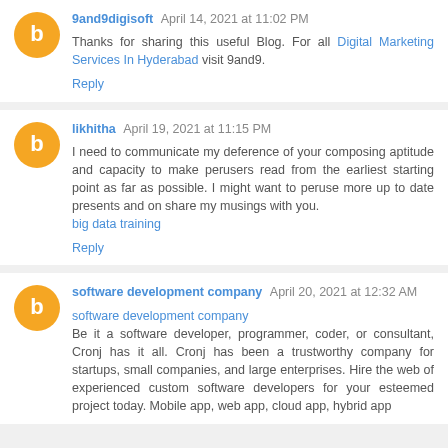9and9digisoft April 14, 2021 at 11:02 PM
Thanks for sharing this useful Blog. For all Digital Marketing Services In Hyderabad visit 9and9.
Reply
likhitha April 19, 2021 at 11:15 PM
I need to communicate my deference of your composing aptitude and capacity to make perusers read from the earliest starting point as far as possible. I might want to peruse more up to date presents and on share my musings with you.
big data training
Reply
software development company April 20, 2021 at 12:32 AM
software development company
Be it a software developer, programmer, coder, or consultant, Cronj has it all. Cronj has been a trustworthy company for startups, small companies, and large enterprises. Hire the web of experienced custom software developers for your esteemed project today. Mobile app, web app, cloud app, hybrid app